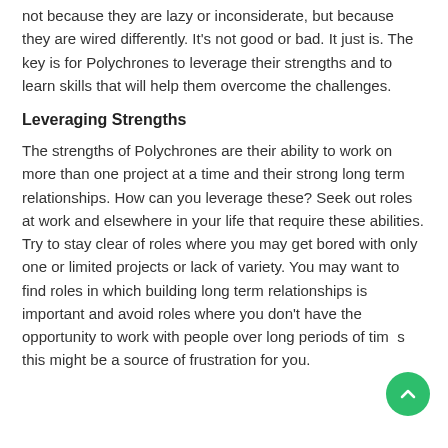not because they are lazy or inconsiderate, but because they are wired differently. It's not good or bad. It just is. The key is for Polychrones to leverage their strengths and to learn skills that will help them overcome the challenges.
Leveraging Strengths
The strengths of Polychrones are their ability to work on more than one project at a time and their strong long term relationships. How can you leverage these? Seek out roles at work and elsewhere in your life that require these abilities. Try to stay clear of roles where you may get bored with only one or limited projects or lack of variety. You may want to find roles in which building long term relationships is important and avoid roles where you don't have the opportunity to work with people over long periods of time, this might be a source of frustration for you.